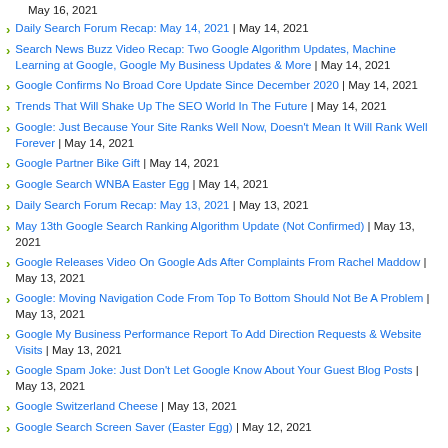May 16, 2021
Daily Search Forum Recap: May 14, 2021 | May 14, 2021
Search News Buzz Video Recap: Two Google Algorithm Updates, Machine Learning at Google, Google My Business Updates & More | May 14, 2021
Google Confirms No Broad Core Update Since December 2020 | May 14, 2021
Trends That Will Shake Up The SEO World In The Future | May 14, 2021
Google: Just Because Your Site Ranks Well Now, Doesn't Mean It Will Rank Well Forever | May 14, 2021
Google Partner Bike Gift | May 14, 2021
Google Search WNBA Easter Egg | May 14, 2021
Daily Search Forum Recap: May 13, 2021 | May 13, 2021
May 13th Google Search Ranking Algorithm Update (Not Confirmed) | May 13, 2021
Google Releases Video On Google Ads After Complaints From Rachel Maddow | May 13, 2021
Google: Moving Navigation Code From Top To Bottom Should Not Be A Problem | May 13, 2021
Google My Business Performance Report To Add Direction Requests & Website Visits | May 13, 2021
Google Spam Joke: Just Don't Let Google Know About Your Guest Blog Posts | May 13, 2021
Google Switzerland Cheese | May 13, 2021
Google Search Screen Saver (Easter Egg) | May 12, 2021